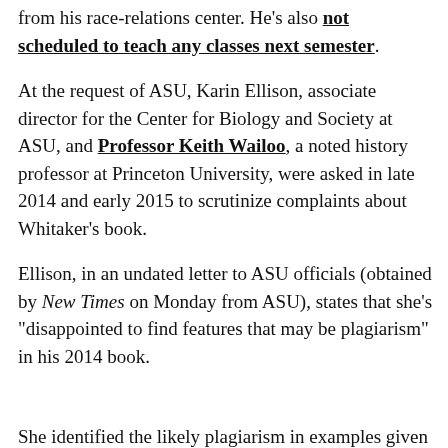from his race-relations center. He's also not scheduled to teach any classes next semester.
At the request of ASU, Karin Ellison, associate director for the Center for Biology and Society at ASU, and Professor Keith Wailoo, a noted history professor at Princeton University, were asked in late 2014 and early 2015 to scrutinize complaints about Whitaker's book.
Ellison, in an undated letter to ASU officials (obtained by New Times on Monday from ASU), states that she's "disappointed to find features that may be plagiarism" in his 2014 book.
She identified the likely plagiarism in examples given by the anonymous blog, "The Cabinet of Plagiarism," which has attacked Whitaker – often by way of personal insults – since his book was published. Not only do